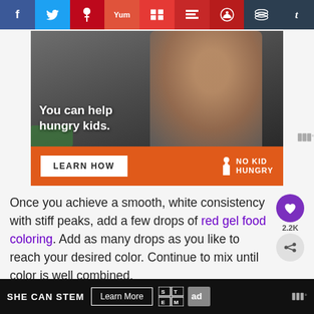[Figure (screenshot): Social share bar with icons for Facebook, Twitter, Pinterest, Yummly, Flipboard, Mix, Reddit, Buffer/Layers, and Tumblr]
[Figure (photo): No Kid Hungry advertisement showing a child eating with text 'You can help hungry kids.' and a 'LEARN HOW' button on an orange bar with No Kid Hungry logo]
Once you achieve a smooth, white consistency with stiff peaks, add a few drops of red gel food coloring. Add as many drops as you like to reach your desired color. Continue to mix until color is well combined.
[Figure (screenshot): She Can STEM advertisement with Learn More button, STEM logo, and Ad Council logo on dark background]